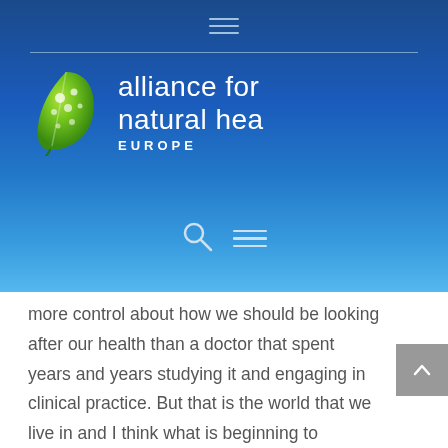[Figure (logo): Alliance for Natural Health Europe logo — green leaf with water droplets and white text on blue gradient background]
more control about how we should be looking after our health than a doctor that spent years and years studying it and engaging in clinical practice. But that is the world that we live in and I think what is beginning to happen is that there are people who are waking up thanks to stations like TNT. To be honest that are essentially, giving people another view.